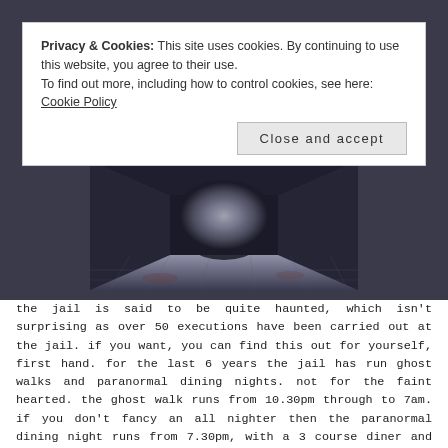[Figure (photo): Dark stone corridor or jail passageway viewed from inside, with stone floor and dark walls converging to a bright opening]
Privacy & Cookies: This site uses cookies. By continuing to use this website, you agree to their use.
To find out more, including how to control cookies, see here: Cookie Policy
Close and accept
the jail is said to be quite haunted, which isn't surprising as over 50 executions have been carried out at the jail. if you want, you can find this out for yourself, first hand. for the last 6 years the jail has run ghost walks and paranormal dining nights. not for the faint hearted. the ghost walk runs from 10.30pm through to 7am. if you don't fancy an all nighter then the paranormal dining night runs from 7.30pm, with a 3 course diner and then a paranormal investigation from 10pm through to 2am. both are hosted by mark rablin and professional psychic medium & energy therapist.